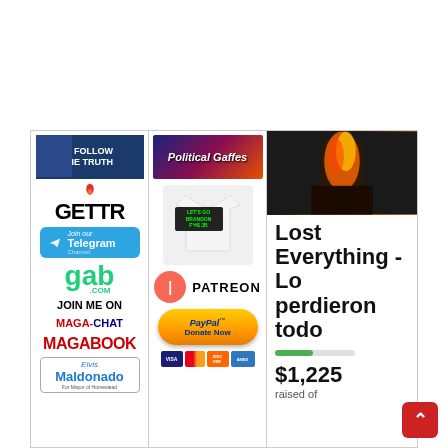[Figure (screenshot): Three-column sidebar layout showing social media links (GETTR, Telegram, Gab, MAGA-Chat, MagaBook, Elvis Maldonado), content links (Political Gaffes, merchandise t-shirt, Patreon, PayPal donate button, payment card logos), and a GoFundMe widget (fire image, 'Lost Everything - Lo perdieron todo', $1,225 raised)]